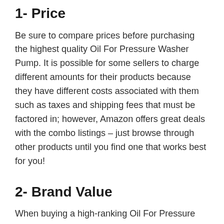1- Price
Be sure to compare prices before purchasing the highest quality Oil For Pressure Washer Pump. It is possible for some sellers to charge different amounts for their products because they have different costs associated with them such as taxes and shipping fees that must be factored in; however, Amazon offers great deals with the combo listings – just browse through other products until you find one that works best for you!
2- Brand Value
When buying a high-ranking Oil For Pressure Washer Pump, price should not be the only consideration. It's also critical to check the brand name and see if it's well-